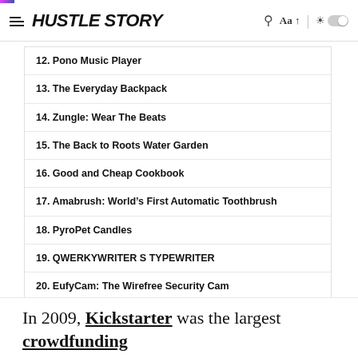HUSTLE STORY
12. Pono Music Player
13. The Everyday Backpack
14. Zungle: Wear The Beats
15. The Back to Roots Water Garden
16. Good and Cheap Cookbook
17. Amabrush: World's First Automatic Toothbrush
18. PyroPet Candles
19. QWERKYWRITER S TYPEWRITER
20. EufyCam: The Wirefree Security Cam
Conclusion
In 2009, Kickstarter was the largest crowdfunding